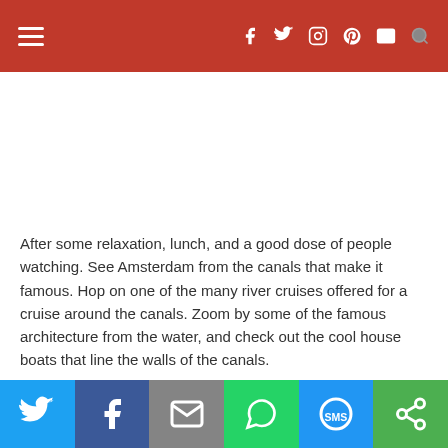Navigation bar with hamburger menu and social icons (Facebook, Twitter, Instagram, Pinterest, Mail, Search)
After some relaxation, lunch, and a good dose of people watching. See Amsterdam from the canals that make it famous. Hop on one of the many river cruises offered for a cruise around the canals. Zoom by some of the famous architecture from the water, and check out the cool house boats that line the walls of the canals.
Share buttons: Twitter, Facebook, Email, WhatsApp, SMS, Share